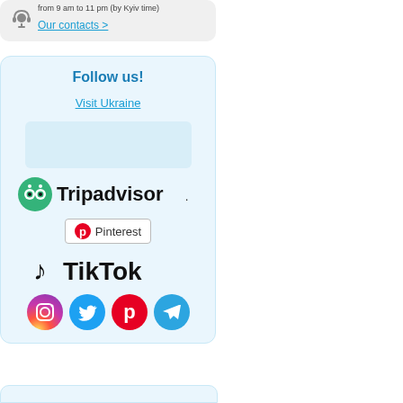from 9 am to 11 pm (by Kyiv time)
Our contacts >
Follow us!
Visit Ukraine
[Figure (logo): Tripadvisor logo with green owl circle icon and Tripadvisor text]
[Figure (logo): Pinterest badge with P icon and Pinterest text]
[Figure (logo): TikTok logo with musical note icon and TikTok text]
[Figure (logo): Social media icons row: Instagram, Twitter, Pinterest, Telegram]